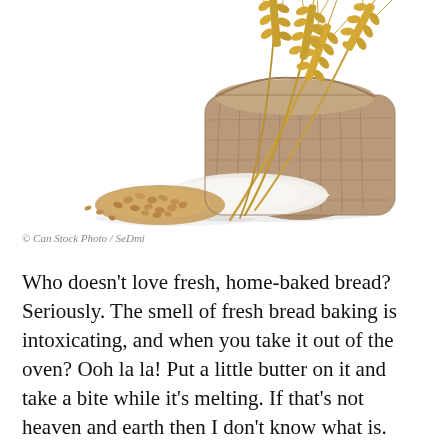[Figure (photo): A burlap sack of flour spilling white flour and wheat grains, with wheat stalks with golden ears on top, on a white background.]
© Can Stock Photo / SeDmi
Who doesn't love fresh, home-baked bread? Seriously. The smell of fresh bread baking is intoxicating, and when you take it out of the oven? Ooh la la! Put a little butter on it and take a bite while it's melting. If that's not heaven and earth then I don't know what is.